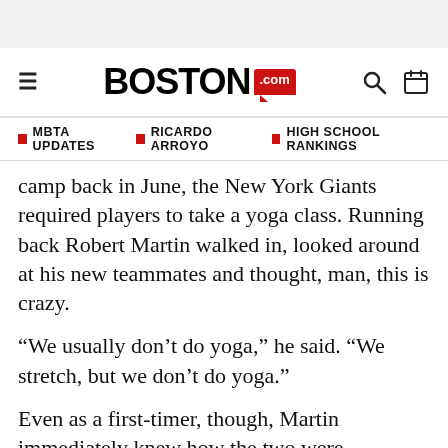[Figure (logo): Boston.com logo with hamburger menu, search icon, and calendar icon]
MBTA UPDATES  |  RICARDO ARROYO  |  HIGH SCHOOL RANKINGS
camp back in June, the New York Giants required players to take a yoga class. Running back Robert Martin walked in, looked around at his new teammates and thought, man, this is crazy.
“We usually don’t do yoga,” he said. “We stretch, but we don’t do yoga.”
Even as a first-timer, though, Martin immediately knew how the two were different.
“It definitely felt weirder than regular stretching,” he said. “It was a lot harder because you have to